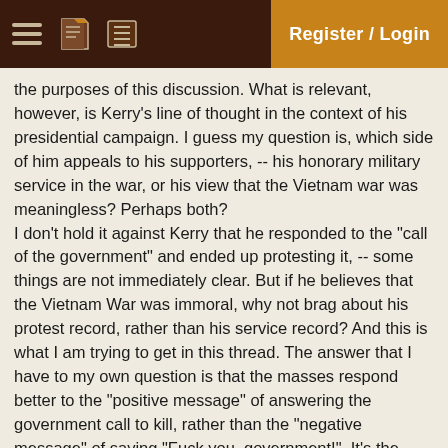Register / Login
the purposes of this discussion. What is relevant, however, is Kerry's line of thought in the context of his presidential campaign. I guess my question is, which side of him appeals to his supporters, -- his honorary military service in the war, or his view that the Vietnam war was meaningless? Perhaps both?
I don't hold it against Kerry that he responded to the "call of the government" and ended up protesting it, -- some things are not immediately clear. But if he believes that the Vietnam War was immoral, why not brag about his protest record, rather than his service record? And this is what I am trying to get in this thread. The answer that I have to my own question is that the masses respond better to the "positive message" of answering the government call to kill, rather than the "negative message" of saying "Fuck you, government!". It's the difference between "Render to Caesar what is Caesar's" and "Render to God what is God's". Does this make sense?
[ February 08, 2004: Message edited by: F...